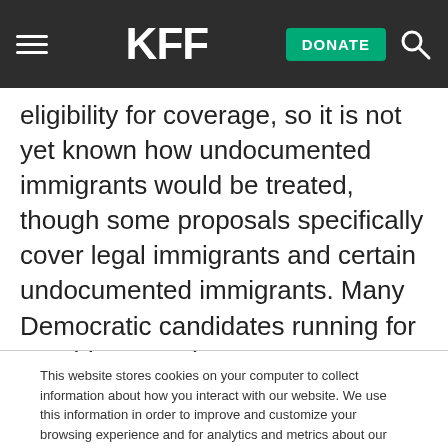KFF | DONATE
eligibility for coverage, so it is not yet known how undocumented immigrants would be treated, though some proposals specifically cover legal immigrants and certain undocumented immigrants. Many Democratic candidates running for President say they support coverage for undocumented
This website stores cookies on your computer to collect information about how you interact with our website. We use this information in order to improve and customize your browsing experience and for analytics and metrics about our visitors both on this website and other media. To find out more about the cookies we use, see our Privacy Policy.
Accept